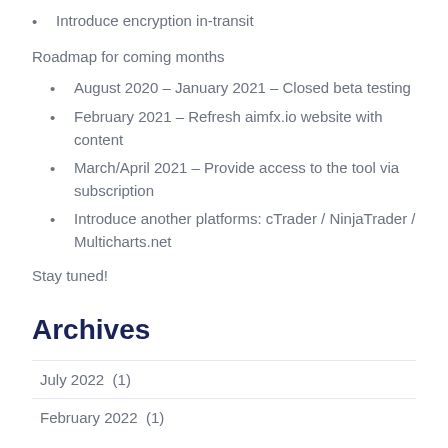Introduce encryption in-transit
Roadmap for coming months
August 2020 – January 2021 – Closed beta testing
February 2021 – Refresh aimfx.io website with content
March/April 2021 – Provide access to the tool via subscription
Introduce another platforms: cTrader / NinjaTrader / Multicharts.net
Stay tuned!
Archives
July 2022  (1)
February 2022  (1)